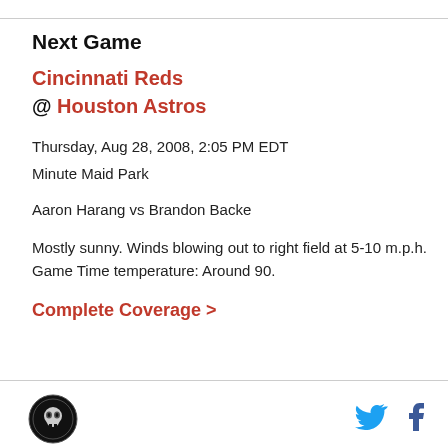Next Game
Cincinnati Reds
@ Houston Astros
Thursday, Aug 28, 2008, 2:05 PM EDT
Minute Maid Park
Aaron Harang vs Brandon Backe
Mostly sunny. Winds blowing out to right field at 5-10 m.p.h. Game Time temperature: Around 90.
Complete Coverage >
[Figure (logo): Circular logo with skull/mascot icon on black background]
[Figure (logo): Twitter bird icon in blue]
[Figure (logo): Facebook f icon in dark blue]